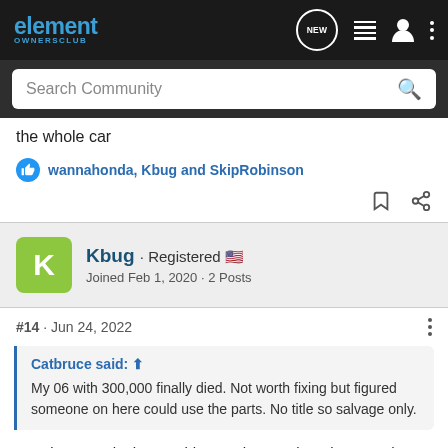element OWNERSCLUB — navigation bar with search
the whole car
wannahonda, Kbug and SkipRobinson
Kbug · Registered
Joined Feb 1, 2020 · 2 Posts
#14 · Jun 24, 2022
Catbruce said:
My 06 with 300,000 finally died. Not worth fixing but figured someone on here could use the parts. No title so salvage only.
Very interested. I lost my blue 04 due to a bear last month. I'm